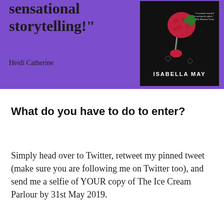[Figure (illustration): Purple banner with partial book quote 'sensational storytelling!' attributed to Heidi Catherine, alongside a book cover for 'The Ice Cream Parlour' by Isabella May showing a dark background with a raspberry/strawberry ice cream image and the author name in large white letters.]
What do you have to do to enter?
Simply head over to Twitter, retweet my pinned tweet (make sure you are following me on Twitter too), and send me a selfie of YOUR copy of The Ice Cream Parlour by 31st May 2019.